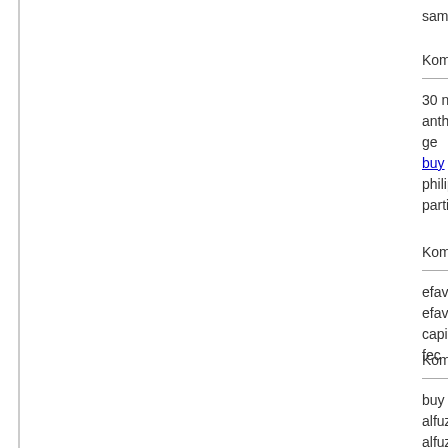samu0027
Komment
30 nemoc... anthem ge... buy delive... philippine... particulare...
Komment
efavirenz ... efavirenz ... capital fec...
Komment
buy alfuzo... alfuzosin ... price tora... online bla... online ald... mg buy al...
Komment